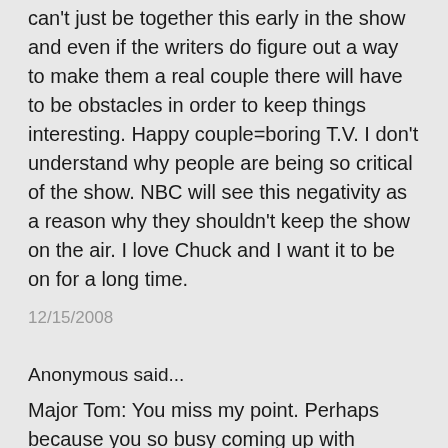can't just be together this early in the show and even if the writers do figure out a way to make them a real couple there will have to be obstacles in order to keep things interesting. Happy couple=boring T.V. I don't understand why people are being so critical of the show. NBC will see this negativity as a reason why they shouldn't keep the show on the air. I love Chuck and I want it to be on for a long time.
12/15/2008
Anonymous said...
Major Tom: You miss my point. Perhaps because you so busy coming up with demeaning insults. It is true that Chuck had unresolved feelings for Jill. But it is also true that almost every episode since then was built around the theme that he was pining for Sarah. If we can't agree on that, then I